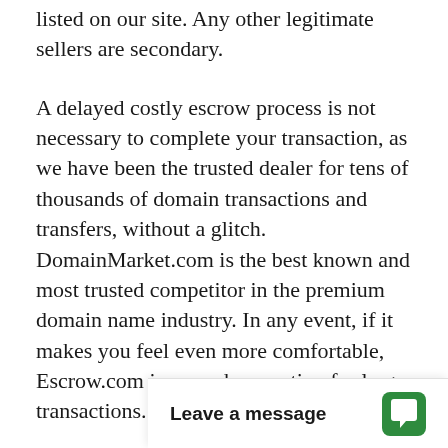listed on our site. Any other legitimate sellers are secondary.
A delayed costly escrow process is not necessary to complete your transaction, as we have been the trusted dealer for tens of thousands of domain transactions and transfers, without a glitch. DomainMarket.com is the best known and most trusted competitor in the premium domain name industry. In any event, if it makes you feel even more comfortable, Escrow.com is a purchase option for large transactions.
The asking price for LibertyParade.com is based on a careful and professional appraisal by the world's leading experts on domain valuations, the inventors of ecommerce for premi... explicitly certified to l...